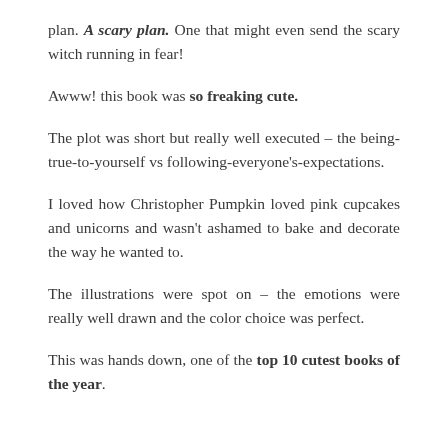plan. A scary plan. One that might even send the scary witch running in fear!
Awww! this book was so freaking cute.
The plot was short but really well executed – the being-true-to-yourself vs following-everyone's-expectations.
I loved how Christopher Pumpkin loved pink cupcakes and unicorns and wasn't ashamed to bake and decorate the way he wanted to.
The illustrations were spot on – the emotions were really well drawn and the color choice was perfect.
This was hands down, one of the top 10 cutest books of the year.